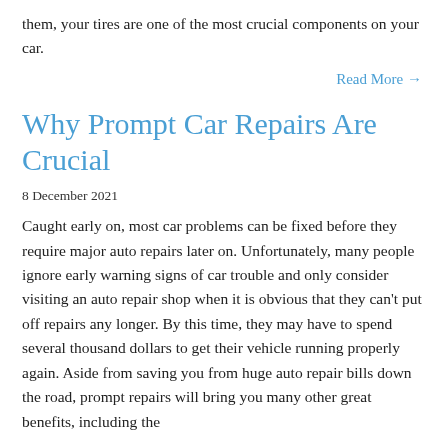them, your tires are one of the most crucial components on your car.
Read More →
Why Prompt Car Repairs Are Crucial
8 December 2021
Caught early on, most car problems can be fixed before they require major auto repairs later on. Unfortunately, many people ignore early warning signs of car trouble and only consider visiting an auto repair shop when it is obvious that they can't put off repairs any longer. By this time, they may have to spend several thousand dollars to get their vehicle running properly again. Aside from saving you from huge auto repair bills down the road, prompt repairs will bring you many other great benefits, including the